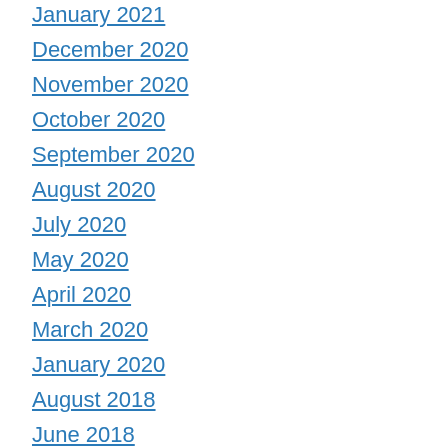January 2021
December 2020
November 2020
October 2020
September 2020
August 2020
July 2020
May 2020
April 2020
March 2020
January 2020
August 2018
June 2018